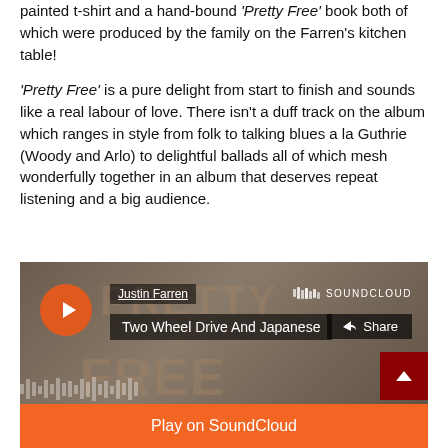painted t-shirt and a hand-bound 'Pretty Free' book both of which were produced by the family on the Farren's kitchen table!
'Pretty Free' is a pure delight from start to finish and sounds like a real labour of love. There isn't a duff track on the album which ranges in style from folk to talking blues a la Guthrie (Woody and Arlo) to delightful ballads all of which mesh wonderfully together in an album that deserves repeat listening and a big audience.
[Figure (screenshot): SoundCloud embedded player showing artist 'Justin Farren' and track 'Two Wheel Drive And Japanese' with play button, share button, SoundCloud logo, waveform background, and orange 'Play on SoundCloud' bar at the bottom.]